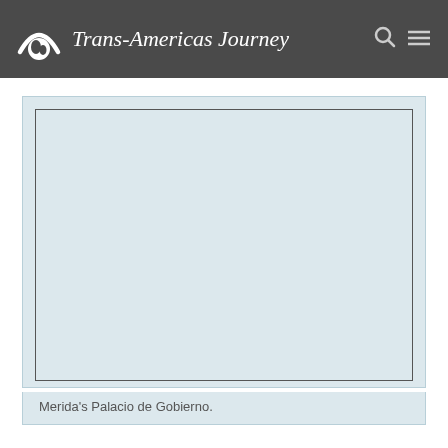Trans-Americas Journey
[Figure (photo): Placeholder image area (light blue rectangle with border) showing Merida's Palacio de Gobierno]
Merida's Palacio de Gobierno.